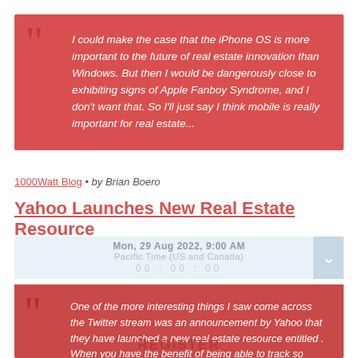I could make the case that the iPhone OS is more important to the future of real estate innovation than Windows. But then I would be dangerously close to exhibiting signs of Apple Fanboy Syndrome, and I don't want that. So I'll just say I think mobile is really important for real estate...
1000Watt Blog • by Brian Boero
Yahoo Launches New Real Estate Resource
Mon, 29 Aug 2022, 9:00 AM
One of the more interesting things I saw come across the Twitter stream was an announcement by Yahoo that they have launched a new real estate resource entitled . When you have the benefit of being able to track so much information and data you also have the ability to package an deliver it in a meaningful way...